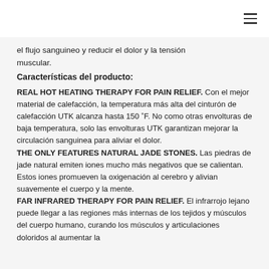☰
el flujo sanguineo y reducir el dolor y la tensión muscular.
Características del producto:
REAL HOT HEATING THERAPY FOR PAIN RELIEF. Con el mejor material de calefacción, la temperatura más alta del cinturón de calefacción UTK alcanza hasta 150 ˚F. No como otras envolturas de baja temperatura, solo las envolturas UTK garantizan mejorar la circulación sanguinea para aliviar el dolor.
THE ONLY FEATURES NATURAL JADE STONES. Las piedras de jade natural emiten iones mucho más negativos que se calientan. Estos iones promueven la oxigenación al cerebro y alivian suavemente el cuerpo y la mente.
FAR INFRARED THERAPY FOR PAIN RELIEF. El infrarrojo lejano puede llegar a las regiones más internas de los tejidos y músculos del cuerpo humano, curando los músculos y articulaciones doloridos al aumentar la